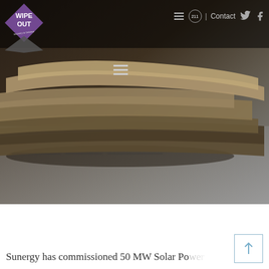[Figure (screenshot): Website header showing Wipe Out logo (purple diamond shape with text), hamburger menu, 211 circle icon, Contact link, Twitter and Facebook icons on dark background]
[Figure (photo): Hero image showing a stack of folded newspapers on a dark surface, slightly out of focus with blurred background]
Sunergy has commissioned 50 MW Solar Po...